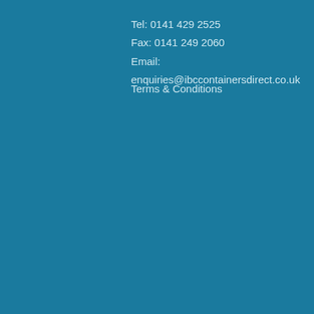Tel: 0141 429 2525
Fax: 0141 249 2060
Email: enquiries@ibccontainersdirect.co.uk
Terms & Conditions